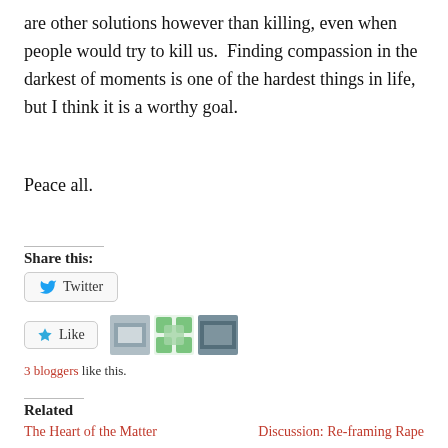are other solutions however than killing, even when people would try to kill us.  Finding compassion in the darkest of moments is one of the hardest things in life, but I think it is a worthy goal.
Peace all.
Share this:
Twitter
[Figure (other): Like button widget with star icon and label 'Like', plus three blogger avatar thumbnails]
3 bloggers like this.
Related
The Heart of the Matter
Discussion: Re-framing Rape